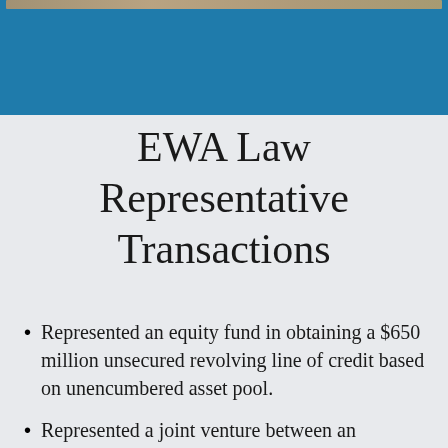[Figure (photo): Header image strip at top of page with blue background band below it]
EWA Law Representative Transactions
Represented an equity fund in obtaining a $650 million unsecured revolving line of credit based on unencumbered asset pool.
Represented a joint venture between an